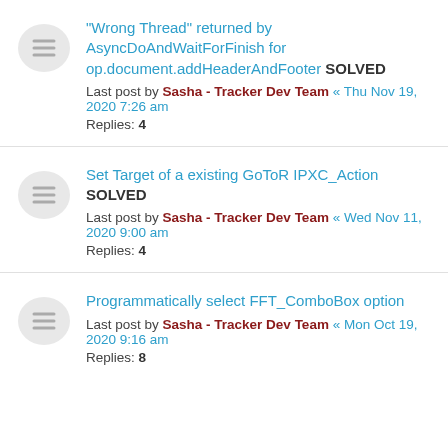"Wrong Thread" returned by AsyncDoAndWaitForFinish for op.document.addHeaderAndFooter SOLVED — Last post by Sasha - Tracker Dev Team « Thu Nov 19, 2020 7:26 am — Replies: 4
Set Target of a existing GoToR IPXC_Action SOLVED — Last post by Sasha - Tracker Dev Team « Wed Nov 11, 2020 9:00 am — Replies: 4
Programmatically select FFT_ComboBox option — Last post by Sasha - Tracker Dev Team « Mon Oct 19, 2020 9:16 am — Replies: 8